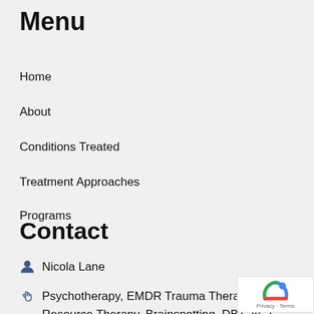Menu
Home
About
Conditions Treated
Treatment Approaches
Programs
Contact
Contact
Nicola Lane
Psychotherapy, EMDR Trauma Therapy, Resource Therapy, Brainspotting, DBT, ACT, Clinical Hypnotherapy & Counselling Services